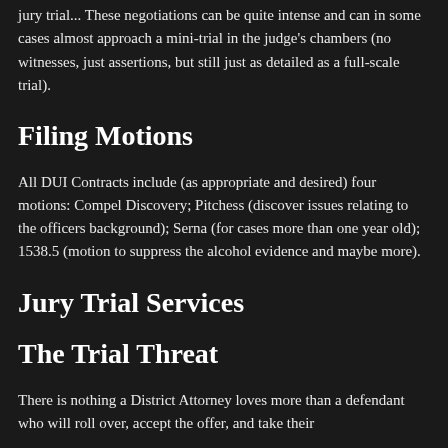jury trial... These negotiations can be quite intense and can in some cases almost approach a mini-trial in the judge's chambers (no witnesses, just assertions, but still just as detailed as a full-scale trial).
Filing Motions
All DUI Contracts include (as appropriate and desired) four motions: Compel Discovery; Pitchess (discover issues relating to the officers background); Serna (for cases more than one year old); 1538.5 (motion to suppress the alcohol evidence and maybe more).
Jury Trial Services
The Trial Threat
There is nothing a District Attorney loves more than a defendant who will roll over, accept the offer, and take their